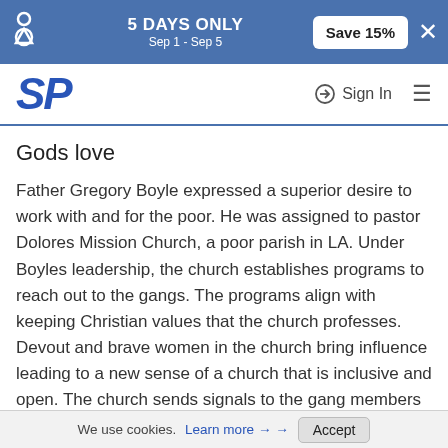5 DAYS ONLY Sep 1 - Sep 5  Save 15%  ×
SP  Sign In  ≡
Gods love
Father Gregory Boyle expressed a superior desire to work with and for the poor. He was assigned to pastor Dolores Mission Church, a poor parish in LA. Under Boyles leadership, the church establishes programs to reach out to the gangs. The programs align with keeping Christian values that the church professes. Devout and brave women in the church bring influence leading to a new sense of a church that is inclusive and open. The church sends signals to the gang members when it refers to them as sons and daughters whether they brought them to the world or not. The recorded experiences bring Gods love
We use cookies. Learn more → Accept